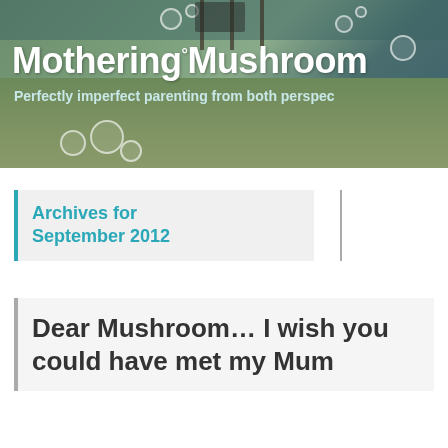[Figure (photo): Blog header banner photo showing a child blowing bubbles outdoors on grass, with the blog title 'Mothering Mushroom' and subtitle 'Perfectly imperfect parenting from both perspectives' overlaid in white text on a teal/green outdoor scene.]
Mothering Mushroom
Perfectly imperfect parenting from both perspectives
Archives for September 2012
Dear Mushroom… I wish you could have met my Mum
Posted on: September 26, 2012, in: grief, half birthday, Mum, Mummy, personal, unconditional love